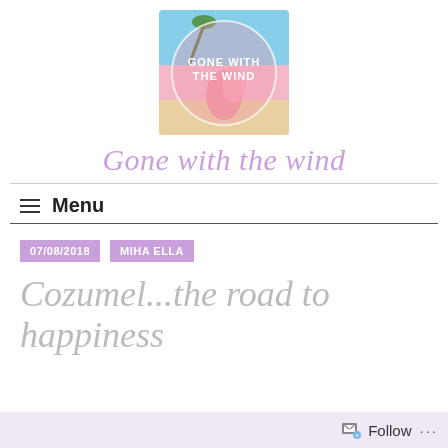[Figure (logo): Gone with the Wind blog logo — beach/flamingo photo with circle overlay and white text 'GONE WITH THE WIND']
Gone with the wind
Menu
07/08/2018   MIHA ELLA
Cozumel...the road to happiness